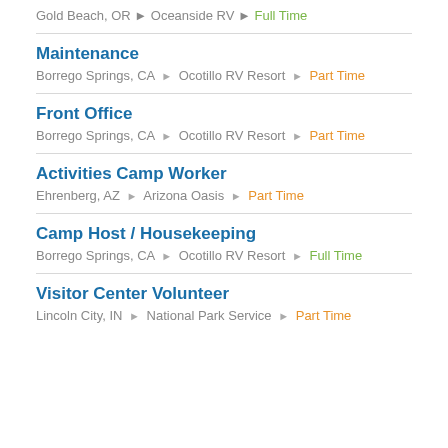Gold Beach, OR ▸ Oceanside RV ▸ Full Time
Maintenance
Borrego Springs, CA ▸ Ocotillo RV Resort ▸ Part Time
Front Office
Borrego Springs, CA ▸ Ocotillo RV Resort ▸ Part Time
Activities Camp Worker
Ehrenberg, AZ ▸ Arizona Oasis ▸ Part Time
Camp Host / Housekeeping
Borrego Springs, CA ▸ Ocotillo RV Resort ▸ Full Time
Visitor Center Volunteer
Lincoln City, IN ▸ National Park Service ▸ Part Time